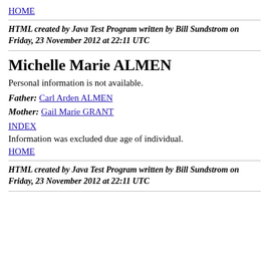HOME
HTML created by Java Test Program written by Bill Sundstrom on Friday, 23 November 2012 at 22:11 UTC
Michelle Marie ALMEN
Personal information is not available.
Father: Carl Arden ALMEN
Mother: Gail Marie GRANT
INDEX
Information was excluded due age of individual.
HOME
HTML created by Java Test Program written by Bill Sundstrom on Friday, 23 November 2012 at 22:11 UTC